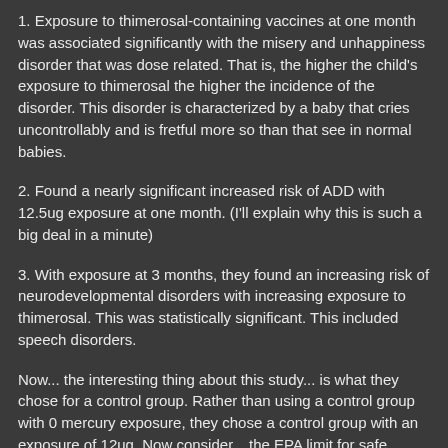1. Exposure to thimerosal-containing vaccines at one month was associated significantly with the misery and unhappiness disorder that was dose related. That is, the higher the child's exposure to thimerosal the higher the incidence of the disorder. This disorder is characterized by a baby that cries uncontrollably and is fretful more so than that see in normal babies.
2. Found a nearly significant increased risk of ADD with 12.5ug exposure at one month. (I'll explain why this is such a big deal in a minute)
3. With exposure at 3 months, they found an increasing risk of neurodevelopmental disorders with increasing exposure to thimerosal. This was statistically significant. This included speech disorders.
Now... the interesting thing about this study... is what they chose for a control group. Rather than using a control group with 0 mercury exposure, they chose a control group with an exposure of 12ug. Now consider... the EPA limit for safe dosage of mecury is 10ug. The Journal of Neurotoxicology